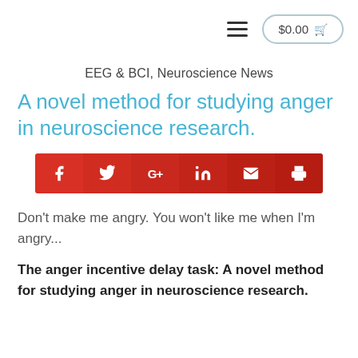$0.00
EEG & BCI, Neuroscience News
A novel method for studying anger in neuroscience research.
[Figure (infographic): Social share bar with icons for Facebook, Twitter, Google+, LinkedIn, Email, and Print on a red background]
Don't make me angry. You won't like me when I'm angry...
The anger incentive delay task: A novel method for studying anger in neuroscience research.